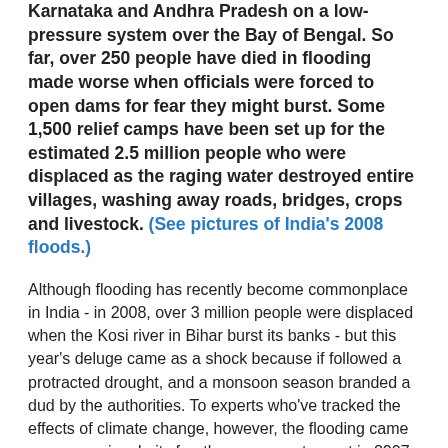Karnataka and Andhra Pradesh on a low-pressure system over the Bay of Bengal. So far, over 250 people have died in flooding made worse when officials were forced to open dams for fear they might burst. Some 1,500 relief camps have been set up for the estimated 2.5 million people who were displaced as the raging water destroyed entire villages, washing away roads, bridges, crops and livestock. (See pictures of India's 2008 floods.)
Although flooding has recently become commonplace in India - in 2008, over 3 million people were displaced when the Kosi river in Bihar burst its banks - but this year's deluge came as a shock because if followed a protracted drought, and a monsoon season branded a dud by the authorities. To experts who've tracked the effects of climate change, however, the flooding came as no surprise. In its fourth assessment report in 2007, the Inter- Government Panel on Climate Change (IPCC) predicted that more extreme droughts, floods, and storms, would become commonplace